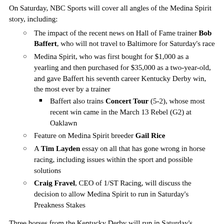On Saturday, NBC Sports will cover all angles of the Medina Spirit story, including:
The impact of the recent news on Hall of Fame trainer Bob Baffert, who will not travel to Baltimore for Saturday's race
Medina Spirit, who was first bought for $1,000 as a yearling and then purchased for $35,000 as a two-year-old, and gave Baffert his seventh career Kentucky Derby win, the most ever by a trainer
Baffert also trains Concert Tour (5-2), whose most recent win came in the March 13 Rebel (G2) at Oaklawn
Feature on Medina Spirit breeder Gail Rice
A Tim Layden essay on all that has gone wrong in horse racing, including issues within the sport and possible solutions
Craig Fravel, CEO of 1/ST Racing, will discuss the decision to allow Medina Spirit to run in Saturday's Preakness Stakes
Three horses from the Kentucky Derby will run in Saturday's Preakness Stakes: winner Medina Spirit, Midnight Bourbon (5-1) and Keepmeinmind (15-1). Ram (30-1), a son of 2015 Triple Crown winner American Pharoah, will also run in the Preakness field.